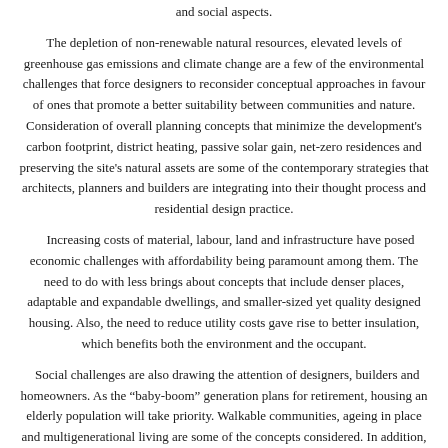and social aspects.
The depletion of non-renewable natural resources, elevated levels of greenhouse gas emissions and climate change are a few of the environmental challenges that force designers to reconsider conceptual approaches in favour of ones that promote a better suitability between communities and nature. Consideration of overall planning concepts that minimize the development's carbon footprint, district heating, passive solar gain, net-zero residences and preserving the site's natural assets are some of the contemporary strategies that architects, planners and builders are integrating into their thought process and residential design practice.
Increasing costs of material, labour, land and infrastructure have posed economic challenges with affordability being paramount among them. The need to do with less brings about concepts that include denser places, adaptable and expandable dwellings, and smaller-sized yet quality designed housing. Also, the need to reduce utility costs gave rise to better insulation, which benefits both the environment and the occupant.
Social challenges are also drawing the attention of designers, builders and homeowners. As the “baby-boom” generation plans for retirement, housing an elderly population will take priority. Walkable communities, ageing in place and multigenerational living are some of the concepts considered. In addition, live-work environments have become part of the economic reality for those who